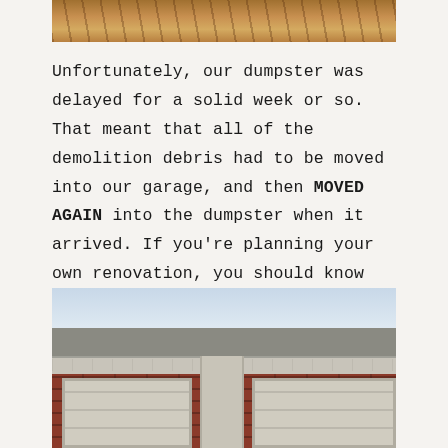[Figure (photo): Partial view of construction/demolition debris, brownish wood and materials, cropped at top of frame]
Unfortunately, our dumpster was delayed for a solid week or so. That meant that all of the demolition debris had to be moved into our garage, and then MOVED AGAIN into the dumpster when it arrived. If you're planning your own renovation, you should know that this is less than ideal.
[Figure (photo): Exterior photo of a house showing the roofline, soffit, and brick garage facade with two garage doors visible]